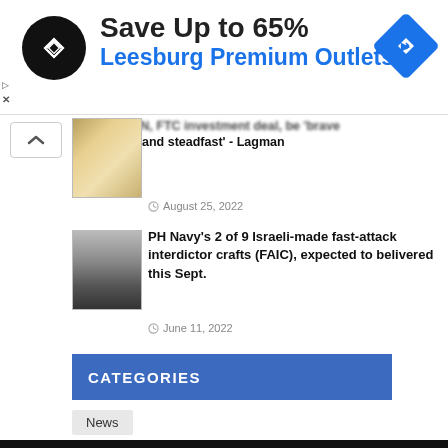[Figure (screenshot): Advertisement banner: Save Up to 65% Leesburg Premium Outlets with circular logo and navigation icon]
No ABS-CBN, FTC investment deal, be 'brave and steadfast' - Lagman
August 25, 2022
PH Navy's 2 of 9 Israeli-made fast-attack interdictor crafts (FAIC), expected to belivered this Sept.
June 11, 2022
CATEGORIES
News